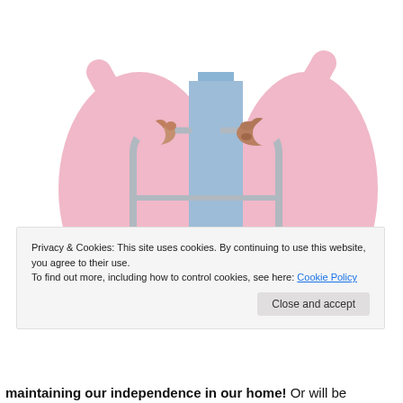[Figure (photo): Elderly person wearing a pink robe gripping handles of a silver walker/walking frame with both hands. A blue garment is visible underneath. White background.]
Privacy & Cookies: This site uses cookies. By continuing to use this website, you agree to their use.
To find out more, including how to control cookies, see here: Cookie Policy
Close and accept
maintaining our independence in our home! Or will be